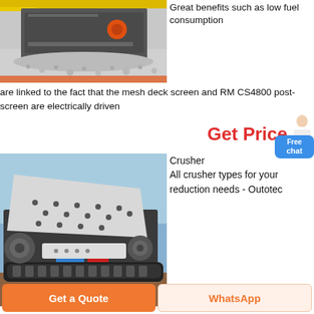[Figure (photo): Industrial machinery/crusher equipment on a conveyor — top partial view, dark grey metal machine on white granules.]
Great benefits such as low fuel consumption
are linked to the fact that the mesh deck screen and RM CS4800 post-screen are electrically driven
Get Price
[Figure (photo): Large mobile crusher/screening machine on tracks, viewed from front-side angle against blue sky.]
Crusher All crusher types for your reduction needs - Outotec
Get a Quote
WhatsApp